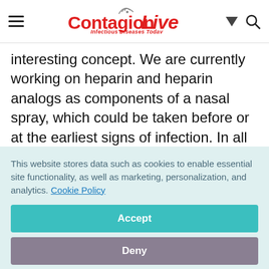ContagionLive — Infectious Diseases Today
interesting concept. We are currently working on heparin and heparin analogs as components of a nasal spray, which could be taken before or at the earliest signs of infection. In all antivirals, if you can use them quickly and early, the chance of reducing the severity of infection goes way up.”
This website stores data such as cookies to enable essential site functionality, as well as marketing, personalization, and analytics. Cookie Policy
Accept
Deny